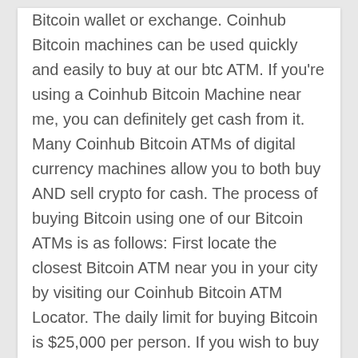Bitcoin wallet or exchange. Coinhub Bitcoin machines can be used quickly and easily to buy at our btc ATM. If you're using a Coinhub Bitcoin Machine near me, you can definitely get cash from it. Many Coinhub Bitcoin ATMs of digital currency machines allow you to both buy AND sell crypto for cash. The process of buying Bitcoin using one of our Bitcoin ATMs is as follows: First locate the closest Bitcoin ATM near you in your city by visiting our Coinhub Bitcoin ATM Locator. The daily limit for buying Bitcoin is $25,000 per person. If you wish to buy more money, please contact us. Coinhub Bitcoin ATMs let you buy bitcoin with cash and get it immediately after purchase at our Bitcoin ATM. Coinhub is the easiest way to buy Bitcoin online or locally. We have Bitcoin Machines in all major cities across the country! Bitcoin is sent instantly to your wallet upon purchase. For purchases over $2,000.00, all you need is a phone and cash. You can finish a